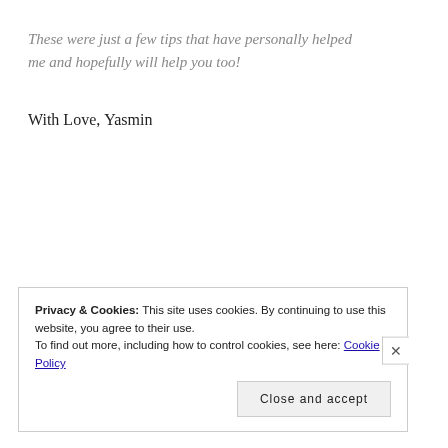These were just a few tips that have personally helped me and hopefully will help you too!
With Love,
Yasmin
Privacy & Cookies: This site uses cookies. By continuing to use this website, you agree to their use.
To find out more, including how to control cookies, see here: Cookie Policy
Close and accept